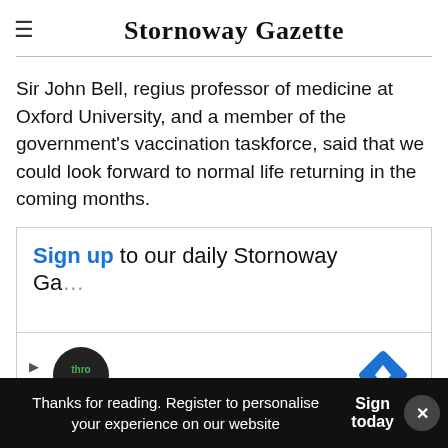Stornoway Gazette
Sir John Bell, regius professor of medicine at Oxford University, and a member of the government's vaccination taskforce, said that we could look forward to normal life returning in the coming months.
Sign up to our daily Stornoway Gazette Today newsletter
[Figure (screenshot): Advertisement banner with Thro Auto logo and navigation arrow icon]
Thanks for reading. Register to personalise your experience on our website | Sign in today